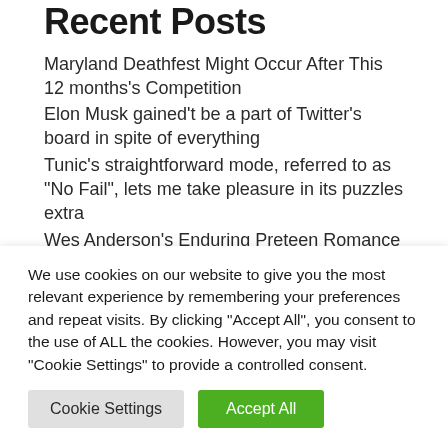Recent Posts
Maryland Deathfest Might Occur After This 12 months’s Competition
Elon Musk gained’t be a part of Twitter’s board in spite of everything
Tunic’s straightforward mode, referred to as “No Fail”, lets me take pleasure in its puzzles extra
Wes Anderson’s Enduring Preteen Romance 10 Years Later
The last text in Clipped Voice...
We use cookies on our website to give you the most relevant experience by remembering your preferences and repeat visits. By clicking “Accept All”, you consent to the use of ALL the cookies. However, you may visit "Cookie Settings" to provide a controlled consent.
Cookie Settings | Accept All